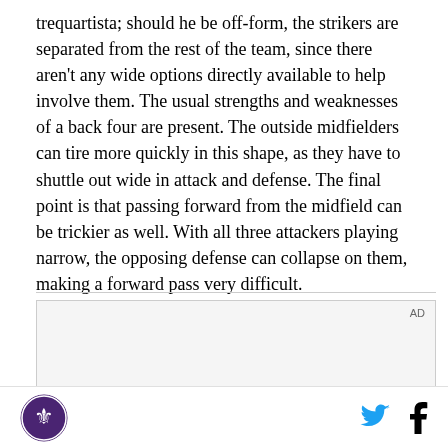trequartista; should he be off-form, the strikers are separated from the rest of the team, since there aren't any wide options directly available to help involve them. The usual strengths and weaknesses of a back four are present. The outside midfielders can tire more quickly in this shape, as they have to shuttle out wide in attack and defense. The final point is that passing forward from the midfield can be trickier as well. With all three attackers playing narrow, the opposing defense can collapse on them, making a forward pass very difficult.
[Figure (other): Advertisement box with 'AD' label in top right corner]
Site logo (fleur-de-lis circular emblem), Twitter bird icon, Facebook f icon